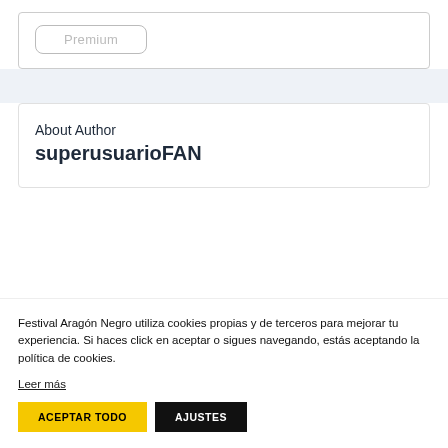Premium
About Author
superusuarioFAN
Festival Aragón Negro utiliza cookies propias y de terceros para mejorar tu experiencia. Si haces click en aceptar o sigues navegando, estás aceptando la política de cookies.
Leer más
ACEPTAR TODO
AJUSTES